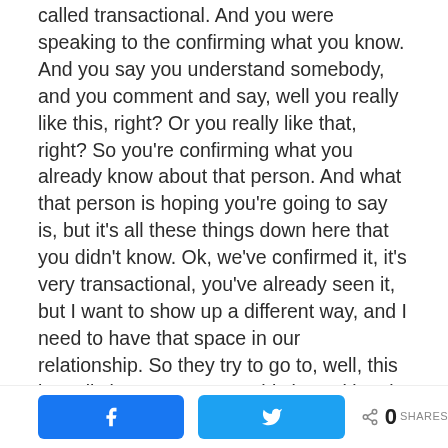called transactional. And you were speaking to the confirming what you know. And you say you understand somebody, and you comment and say, well you really like this, right? Or you really like that, right? So you're confirming what you already know about that person. And what that person is hoping you're going to say is, but it's all these things down here that you didn't know. Ok, we've confirmed it, it's very transactional, you've already seen it, but I want to show up a different way, and I need to have that space in our relationship. So they try to go to, well, this is really important to me, this is positional, level two. It's not just confirming what I know, but it's saying, I very strongly believe, and this is important for a relationship between us. And I
[Figure (other): Social share bar with Facebook button, Twitter button, and share count showing 0 SHARES]